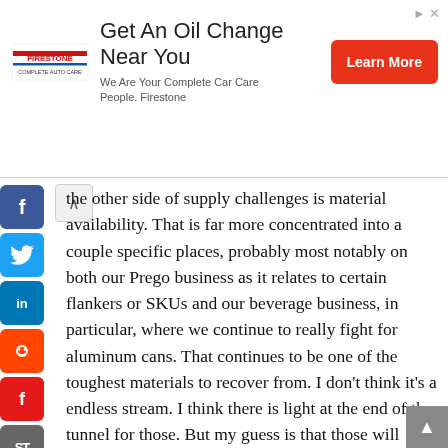[Figure (other): Firestone advertisement banner: 'Get An Oil Change Near You — We Are Your Complete Car Care People. Firestone' with a red 'Learn More' button and Firestone logo.]
the other side of supply challenges is material availability. That is far more concentrated into a couple specific places, probably most notably on both our Prego business as it relates to certain flankers or SKUs and our beverage business, in particular, where we continue to really fight for aluminum cans. That continues to be one of the toughest materials to recover from. I don't think it's a endless stream. I think there is light at the end of the tunnel for those. But my guess is that those will probably take us into the better part of 2023 to fully recover on those.

And then, of course, there's always odds and ends here